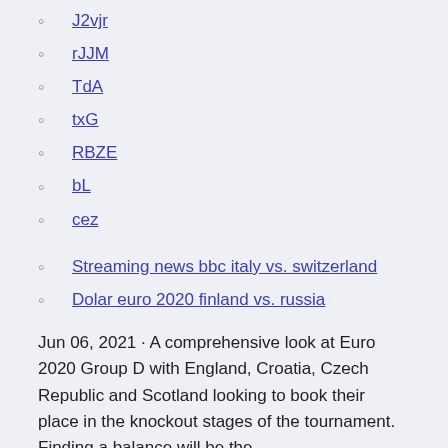J2vjr
rJJM
TdA
txG
RBZE
bL
cez
Streaming news bbc italy vs. switzerland
Dolar euro 2020 finland vs. russia
Jun 06, 2021 · A comprehensive look at Euro 2020 Group D with England, Croatia, Czech Republic and Scotland looking to book their place in the knockout stages of the tournament. Finding a balance will be the